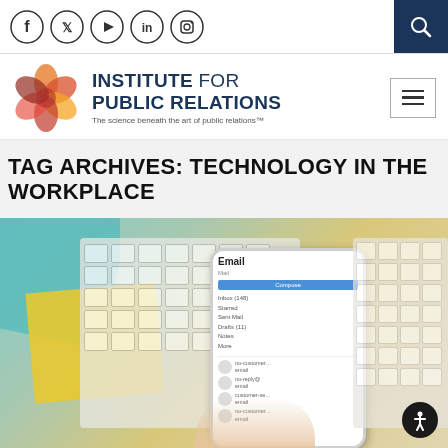Social media icons: Facebook, Twitter, YouTube, LinkedIn, Instagram; Search button
[Figure (logo): Institute for Public Relations logo with globe graphic and tagline 'The science beneath the art of public relations']
TAG ARCHIVES: TECHNOLOGY IN THE WORKPLACE
[Figure (photo): Photo of hands holding a smartphone showing an email inbox, with Apple keyboards in the background on a colorful desk]